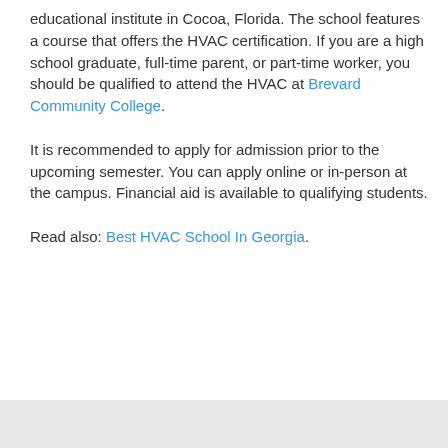educational institute in Cocoa, Florida. The school features a course that offers the HVAC certification. If you are a high school graduate, full-time parent, or part-time worker, you should be qualified to attend the HVAC at Brevard Community College.
It is recommended to apply for admission prior to the upcoming semester. You can apply online or in-person at the campus. Financial aid is available to qualifying students.
Read also: Best HVAC School In Georgia.